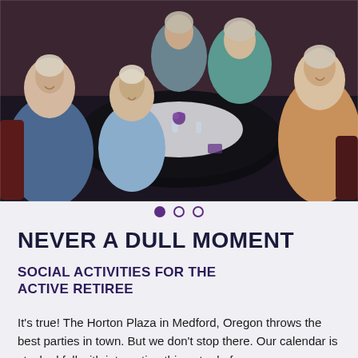[Figure (photo): Group of elderly women sitting around a round table with a black tablecloth at a social event or party. The women are smiling and appear to be at a restaurant or banquet hall.]
NEVER A DULL MOMENT
SOCIAL ACTIVITIES FOR THE ACTIVE RETIREE
It's true! The Horton Plaza in Medford, Oregon throws the best parties in town. But we don't stop there. Our calendar is stocked full with interesting things to do for everyone